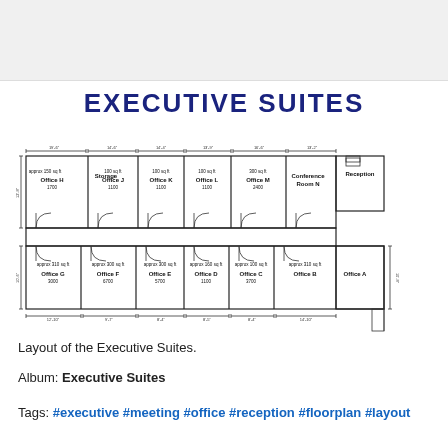EXECUTIVE SUITES
[Figure (schematic): Floor plan of Executive Suites showing offices labeled A through N plus Storage and Reception. Upper row: Office H, Storage, Office J, Office K, Office L, Office M, Conference Room N, Reception. Lower row: Office G, Office F, Office E, Office D, Office C, Office B, Office A. Dimensions annotated on plan.]
Layout of the Executive Suites.
Album: Executive Suites
Tags: #executive #meeting #office #reception #floorplan #layout